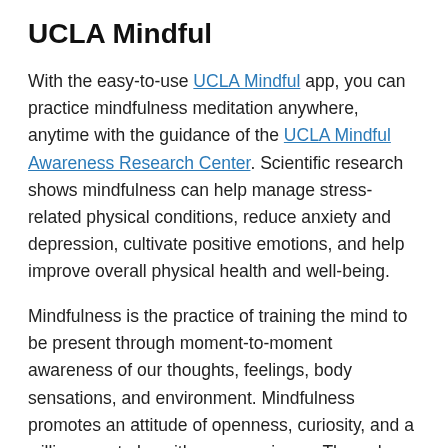UCLA Mindful
With the easy-to-use UCLA Mindful app, you can practice mindfulness meditation anywhere, anytime with the guidance of the UCLA Mindful Awareness Research Center. Scientific research shows mindfulness can help manage stress-related physical conditions, reduce anxiety and depression, cultivate positive emotions, and help improve overall physical health and well-being.
Mindfulness is the practice of training the mind to be present through moment-to-moment awareness of our thoughts, feelings, body sensations, and environment. Mindfulness promotes an attitude of openness, curiosity, and a willingness to be with our experience. Through regular practice, taught through this app, you can